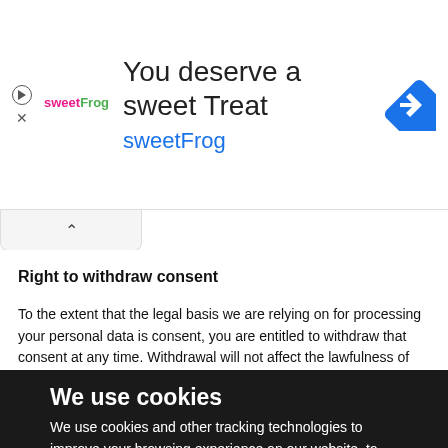[Figure (infographic): Advertisement banner for sweetFrog frozen yogurt. Shows sweetFrog logo, headline 'You deserve a sweet Treat', subtext 'sweetFrog' in blue, and a blue diamond navigation icon on the right. Left side has a play/pause circle icon and an X close icon.]
Right to withdraw consent
To the extent that the legal basis we are relying on for processing your personal data is consent, you are entitled to withdraw that consent at any time. Withdrawal will not affect the lawfulness of processing before the withdrawal.
We use cookies
We use cookies and other tracking technologies to improve your browsing experience on our website, to show you personalized content and targeted ads, to analyze our website traffic, and